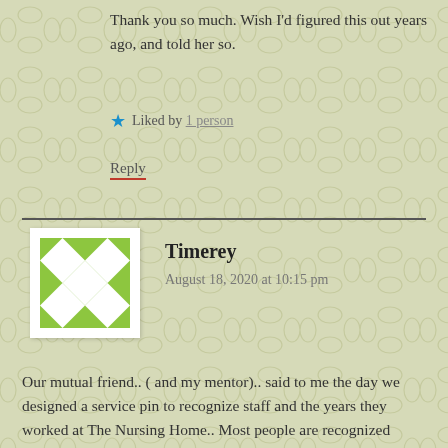Thank you so much. Wish I'd figured this out years ago, and told her so.
★ Liked by 1 person
Reply
Timerey
August 18, 2020 at 10:15 pm
[Figure (illustration): Green and white diamond/checkerboard pattern avatar image for user Timerey]
Our mutual friend.. ( and my mentor).. said to me the day we designed a service pin to recognize staff and the years they worked at The Nursing Home.. Most people are recognized twice.. when they are born and when they pass. It is very important to recognize people , the work they did, who they helped and what they mean/ meant to you.